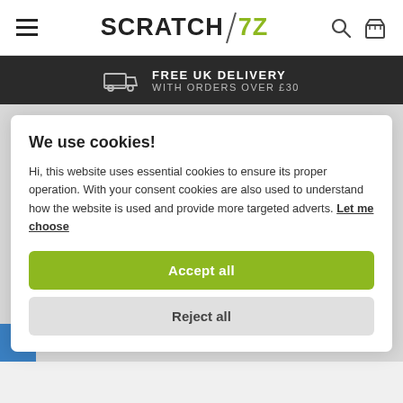SCRATCH7Z — Free UK Delivery with orders over £30
FREE UK DELIVERY WITH ORDERS OVER £30
We use cookies!
Hi, this website uses essential cookies to ensure its proper operation. With your consent cookies are also used to understand how the website is used and provide more targeted adverts. Let me choose
Accept all
Reject all